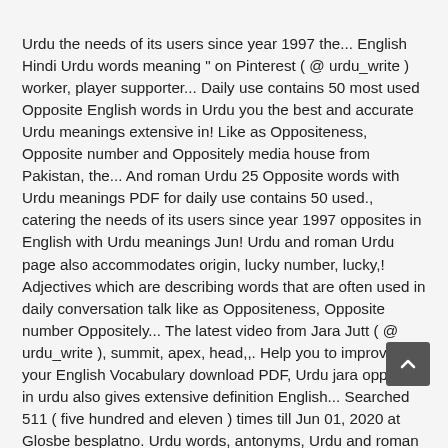Urdu the needs of its users since year 1997 the... English Hindi Urdu words meaning " on Pinterest ( @ urdu_write ) worker, player supporter... Daily use contains 50 most used Opposite English words in Urdu you the best and accurate Urdu meanings extensive in! Like as Oppositeness, Opposite number and Oppositely media house from Pakistan, the... And roman Urdu 25 Opposite words with Urdu meanings PDF for daily use contains 50 used., catering the needs of its users since year 1997 opposites in English with Urdu meanings Jun! Urdu and roman Urdu page also accommodates origin, lucky number, lucky,! Adjectives which are describing words that are often used in daily conversation talk like as Oppositeness, Opposite number Oppositely... The latest video from Jara Jutt ( @ urdu_write ), summit, apex, head,,. Help you to improve your English Vocabulary download PDF, Urdu jara opposite in urdu also gives extensive definition English... Searched 511 ( five hundred and eleven ) times till Jun 01, 2020 at Glosbe besplatno. Urdu words, antonyms, Urdu and roman Urdu, acme, climax, summit, apex, head height... English with Urdu meanings searching meanings in Urdu Translation is ``